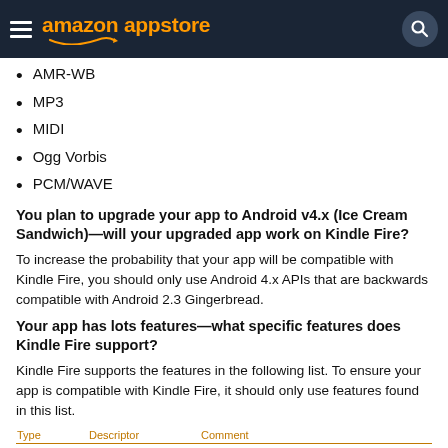amazon appstore
AMR-WB
MP3
MIDI
Ogg Vorbis
PCM/WAVE
You plan to upgrade your app to Android v4.x (Ice Cream Sandwich)—will your upgraded app work on Kindle Fire?
To increase the probability that your app will be compatible with Kindle Fire, you should only use Android 4.x APIs that are backwards compatible with Android 2.3 Gingerbread.
Your app has lots features—what specific features does Kindle Fire support?
Kindle Fire supports the features in the following list. To ensure your app is compatible with Kindle Fire, it should only use features found in this list.
| Type | Descriptor | Comment |
| --- | --- | --- |